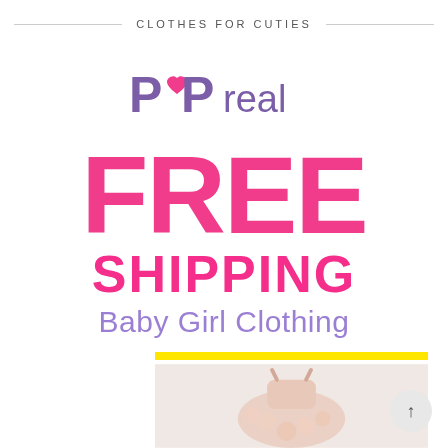CLOTHES FOR CUTIES
[Figure (logo): PopReal brand logo with purple playful lettering and a pink heart]
FREE SHIPPING Baby Girl Clothing
[Figure (photo): A pink floral baby girl dress hanging against a light background]